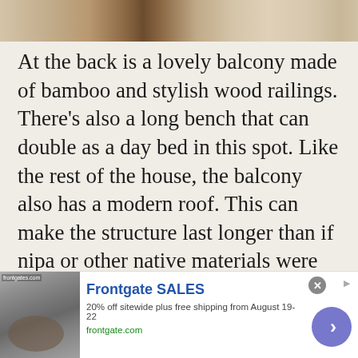[Figure (photo): Top portion of a photo showing bamboo and wooden architectural elements, likely a balcony railing or decorative wall]
At the back is a lovely balcony made of bamboo and stylish wood railings. There's also a long bench that can double as a day bed in this spot. Like the rest of the house, the balcony also has a modern roof. This can make the structure last longer than if nipa or other native materials were used.
Comfortable Bedroom with Trundle Bed
[Figure (screenshot): Advertisement banner for Frontgate SALES: '20% off sitewide plus free shipping from August 19-22', frontgate.com, with a furniture/fire pit image on the left and a blue circular CTA arrow button on the right]